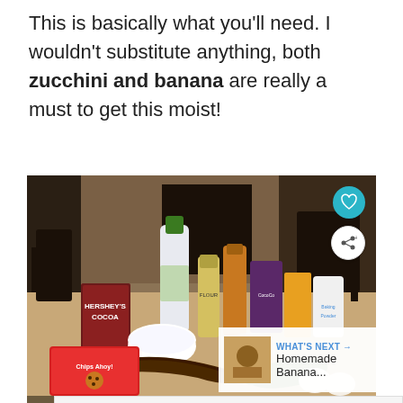This is basically what you'll need. I wouldn't substitute anything, both zucchini and banana are really a must to get this moist!
[Figure (photo): A kitchen table with baking ingredients including Hershey's Cocoa, a bottle of oil, eggs, a banana, zucchini, flour, sugar, and other items needed for a baking recipe.]
Topgolf® - Family Fun Topgolf